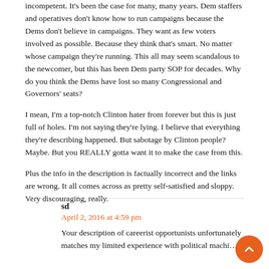incompetent. It's been the case for many, many years. Dem staffers and operatives don't know how to run campaigns because the Dems don't believe in campaigns. They want as few voters involved as possible. Because they think that's smart. No matter whose campaign they're running. This all may seem scandalous to the newcomer, but this has been Dem party SOP for decades. Why do you think the Dems have lost so many Congressional and Governors' seats?
I mean, I'm a top-notch Clinton hater from forever but this is just full of holes. I'm not saying they're lying. I believe that everything they're describing happened. But sabotage by Clinton people? Maybe. But you REALLY gotta want it to make the case from this.
Plus the info in the description is factually incorrect and the links are wrong. It all comes across as pretty self-satisfied and sloppy. Very discouraging, really.
sd
April 2, 2016 at 4:59 pm
Your description of careerist opportunists unfortunately matches my limited experience with political machi...